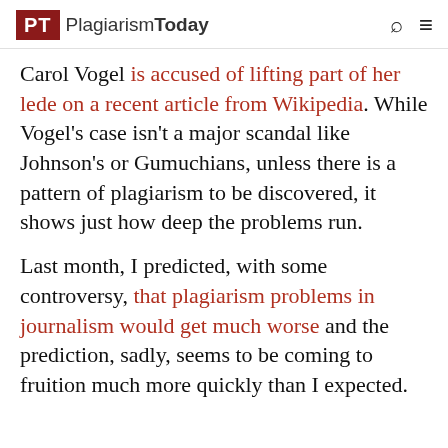PT PlagiarismToday
Carol Vogel is accused of lifting part of her lede on a recent article from Wikipedia. While Vogel's case isn't a major scandal like Johnson's or Gumuchians, unless there is a pattern of plagiarism to be discovered, it shows just how deep the problems run.
Last month, I predicted, with some controversy, that plagiarism problems in journalism would get much worse and the prediction, sadly, seems to be coming to fruition much more quickly than I expected.